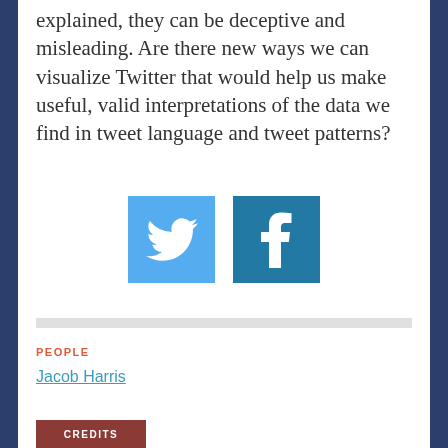explained, they can be deceptive and misleading. Are there new ways we can visualize Twitter that would help us make useful, valid interpretations of the data we find in tweet language and tweet patterns?
[Figure (logo): Twitter bird logo icon (light blue square) and Facebook f logo icon (darker blue square) side by side]
PEOPLE
Jacob Harris
CREDITS